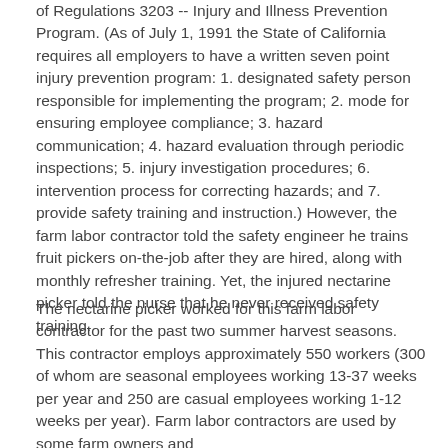of Regulations 3203 -- Injury and Illness Prevention Program. (As of July 1, 1991 the State of California requires all employers to have a written seven point injury prevention program: 1. designated safety person responsible for implementing the program; 2. mode for ensuring employee compliance; 3. hazard communication; 4. hazard evaluation through periodic inspections; 5. injury investigation procedures; 6. intervention process for correcting hazards; and 7. provide safety training and instruction.) However, the farm labor contractor told the safety engineer he trains fruit pickers on-the-job after they are hired, along with monthly refresher training. Yet, the injured nectarine picker told the nurse that he never received safety training.
The nectarine picker worked for this farm labor contractor for the past two summer harvest seasons. This contractor employs approximately 550 workers (300 of whom are seasonal employees working 13-37 weeks per year and 250 are casual employees working 1-12 weeks per year). Farm labor contractors are used by some farm owners and